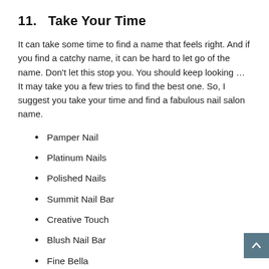11.   Take Your Time
It can take some time to find a name that feels right. And if you find a catchy name, it can be hard to let go of the name. Don't let this stop you. You should keep looking … It may take you a few tries to find the best one. So, I suggest you take your time and find a fabulous nail salon name.
Pamper Nail
Platinum Nails
Polished Nails
Summit Nail Bar
Creative Touch
Blush Nail Bar
Fine Bella